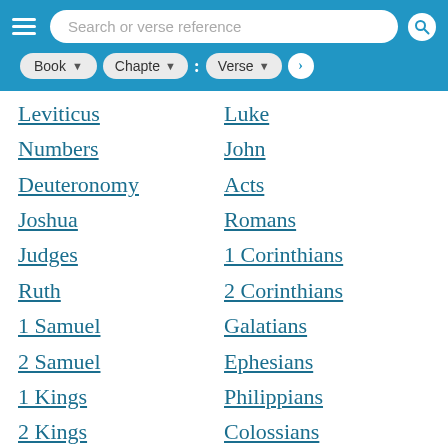[Figure (screenshot): Mobile Bible app header with hamburger menu, search bar labeled 'Search or verse reference', and dropdowns for Book, Chapter, and Verse navigation]
Leviticus
Luke
Numbers
John
Deuteronomy
Acts
Joshua
Romans
Judges
1 Corinthians
Ruth
2 Corinthians
1 Samuel
Galatians
2 Samuel
Ephesians
1 Kings
Philippians
2 Kings
Colossians